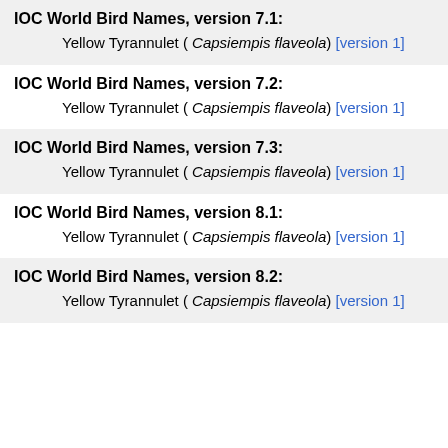IOC World Bird Names, version 7.1:
Yellow Tyrannulet ( Capsiempis flaveola) [version 1]
IOC World Bird Names, version 7.2:
Yellow Tyrannulet ( Capsiempis flaveola) [version 1]
IOC World Bird Names, version 7.3:
Yellow Tyrannulet ( Capsiempis flaveola) [version 1]
IOC World Bird Names, version 8.1:
Yellow Tyrannulet ( Capsiempis flaveola) [version 1]
IOC World Bird Names, version 8.2:
Yellow Tyrannulet ( Capsiempis flaveola) [version 1]